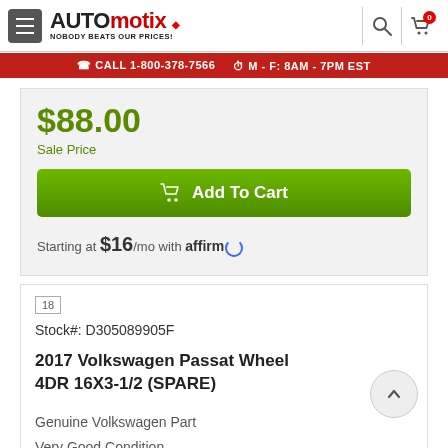[Figure (logo): Automotix logo with hamburger menu, tagline NOBODY BEATS OUR PRICES!, search icon, and cart icon with badge 0]
CALL 1-800-378-7566  M - F: 8AM - 7PM EST
$88.00
Sale Price
Add To Cart
Starting at $16/mo with affirm
18
Stock#: D305089905F
2017 Volkswagen Passat Wheel 4DR 16X3-1/2 (SPARE)
Genuine Volkswagen Part
Very Good Condition
1-Year Warranty